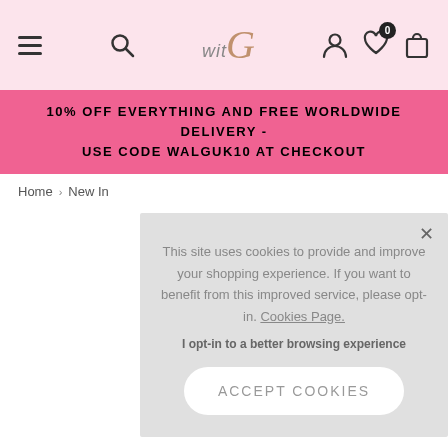witG - navigation header with hamburger menu, search, logo, user, wishlist (0), cart icons
10% OFF EVERYTHING AND FREE WORLDWIDE DELIVERY - USE CODE WALGUK10 AT CHECKOUT
Home > New In
This site uses cookies to provide and improve your shopping experience. If you want to benefit from this improved service, please opt-in. Cookies Page.
I opt-in to a better browsing experience
ACCEPT COOKIES